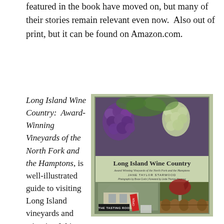featured in the book have moved on, but many of their stories remain relevant even now.  Also out of print, but it can be found on Amazon.com.
Long Island Wine Country:  Award-Winning Vineyards of the North Fork and the Hamptons, is well-illustrated guide to visiting Long Island vineyards and wineries. Written by Jane Taylor Starwood, editor-in-chief of Long Island Wine Press, she gives us an insider's track on the owners, the
[Figure (photo): Book cover of 'Long Island Wine Country: Award Winning Vineyards of the North Fork and the Hamptons' by Jane Taylor Starwood. Cover shows grapes on vine at top, middle section has the book title on a sage green band with subtitle and author name, bottom section shows a tasting room exterior with an 'OPEN' sign, a wine glass, and wine barrels.]